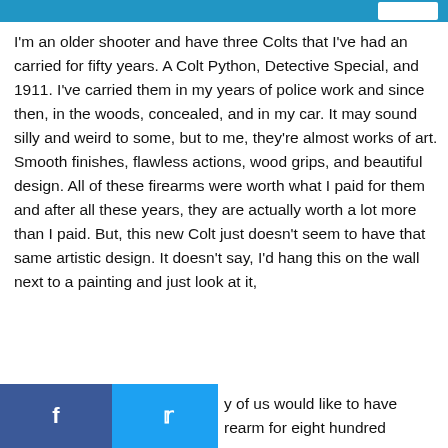I'm an older shooter and have three Colts that I've had an carried for fifty years. A Colt Python, Detective Special, and 1911. I've carried them in my years of police work and since then, in the woods, concealed, and in my car. It may sound silly and weird to some, but to me, they're almost works of art. Smooth finishes, flawless actions, wood grips, and beautiful design. All of these firearms were worth what I paid for them and after all these years, they are actually worth a lot more than I paid. But, this new Colt just doesn't seem to have that same artistic design. It doesn't say, I'd hang this on the wall next to a painting and just look at it,
y of us would like to have rearm for eight hundred
f  [twitter]  [reddit]  [email]